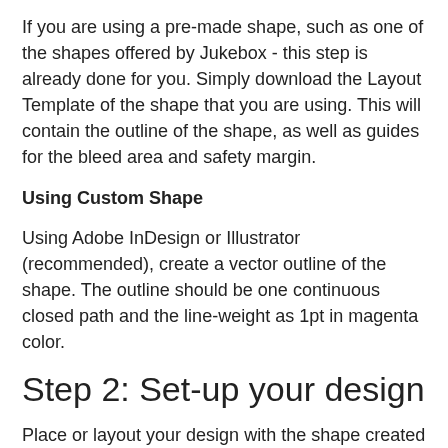If you are using a pre-made shape, such as one of the shapes offered by Jukebox - this step is already done for you. Simply download the Layout Template of the shape that you are using. This will contain the outline of the shape, as well as guides for the bleed area and safety margin.
Using Custom Shape
Using Adobe InDesign or Illustrator (recommended), create a vector outline of the shape. The outline should be one continuous closed path and the line-weight as 1pt in magenta color.
Step 2: Set-up your design
Place or layout your design with the shape created in Step 1.
Ensure your design complies with the bleed and safety margin requirements. See: Bleed and safety margin, and